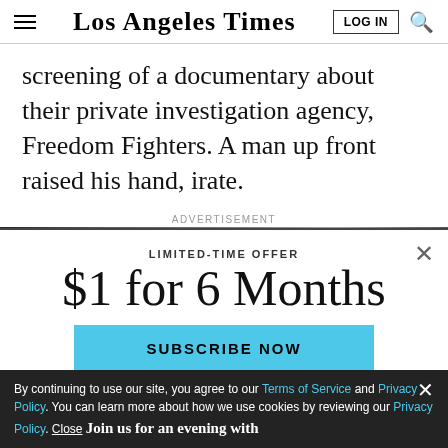Los Angeles Times
screening of a documentary about their private investigation agency, Freedom Fighters. A man up front raised his hand, irate.
ADVERTISEMENT
LIMITED-TIME OFFER
$1 for 6 Months
SUBSCRIBE NOW
By continuing to use our site, you agree to our Terms of Service and Privacy Policy. You can learn more about how we use cookies by reviewing our Privacy Policy. Close
Join us for an evening with